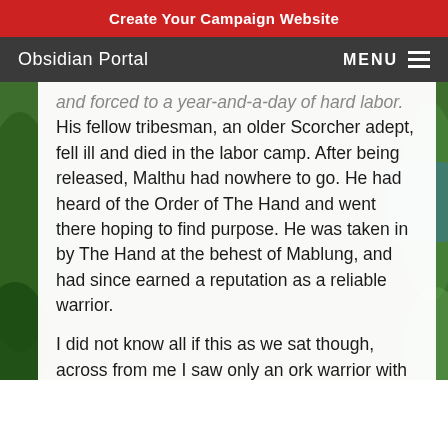Create Your Campaign Website
Obsidian Portal   MENU
and forced to a year-and-a-day of hard labor. His fellow tribesman, an older Scorcher adept, fell ill and died in the labor camp. After being released, Malthu had nowhere to go. He had heard of the Order of The Hand and went there hoping to find purpose. He was taken in by The Hand at the behest of Mablung, and had since earned a reputation as a reliable warrior.

I did not know all if this as we sat though, across from me I saw only an ork warrior with a long sword and hardened leather armor. I knew his name was Malthu, but that was all. He then looked at me, and spoke in a quiet but